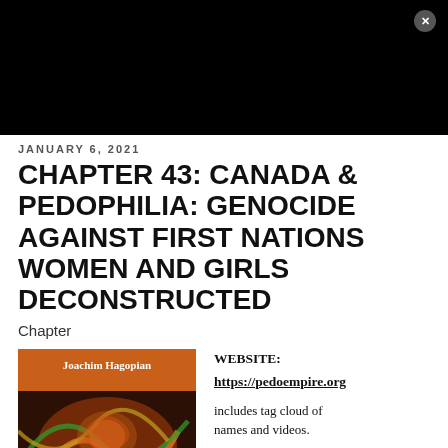[Figure (screenshot): Black banner at top of page with close button (x) in top right corner]
JANUARY 6, 2021
CHAPTER 43: CANADA & PEDOPHILIA: GENOCIDE AGAINST FIRST NATIONS WOMEN AND GIRLS DECONSTRUCTED
Chapter
[Figure (photo): Book cover for 'Pedophilia & Empire: Satan...' by Joachim Hagopian, featuring colorful abstract art]
WEBSITE: https://pedoempire.org includes tag cloud of names and videos. Chapter 43 Online Book 4